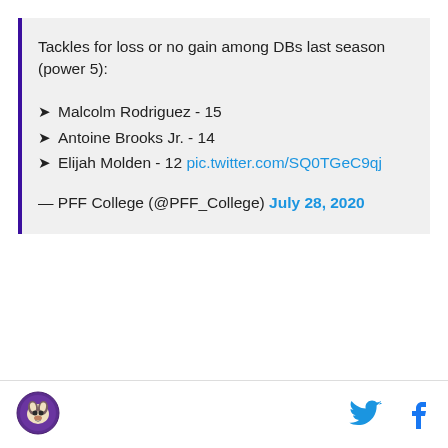Tackles for loss or no gain among DBs last season (power 5):
Malcolm Rodriguez - 15
Antoine Brooks Jr. - 14
Elijah Molden - 12 pic.twitter.com/SQ0TGeC9qj
— PFF College (@PFF_College) July 28, 2020
[Figure (logo): Husky dog mascot logo in purple circle]
[Figure (logo): Twitter bird icon in cyan]
[Figure (logo): Facebook f icon in dark blue]